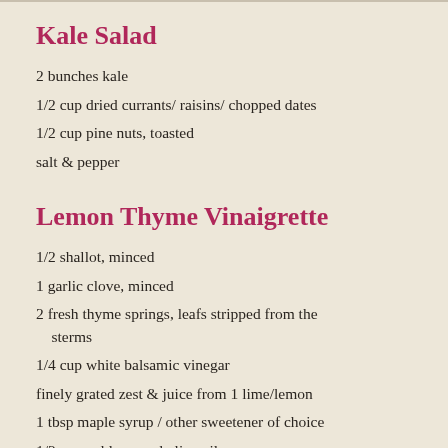Kale Salad
2 bunches kale
1/2 cup dried currants/ raisins/ chopped dates
1/2 cup pine nuts, toasted
salt & pepper
Lemon Thyme Vinaigrette
1/2 shallot, minced
1 garlic clove, minced
2 fresh thyme springs, leafs stripped from the sterms
1/4 cup white balsamic vinegar
finely grated zest & juice from 1 lime/lemon
1 tbsp maple syrup / other sweetener of choice
1/2 cup cold pressed olive oil